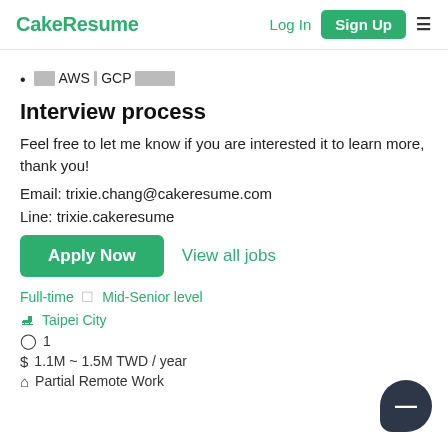CakeResume  Log In  Sign Up
░░░░ AWS ░ GCP ░░░░░░░░░░░
Interview process
Feel free to let me know if you are interested it to learn more, thank you!
Email: trixie.chang@cakeresume.com
Line: trixie.cakeresume
Apply Now  View all jobs
Full-time ░ Mid-Senior level
Taipei City
1
1.1M ~ 1.5M TWD / year
Partial Remote Work